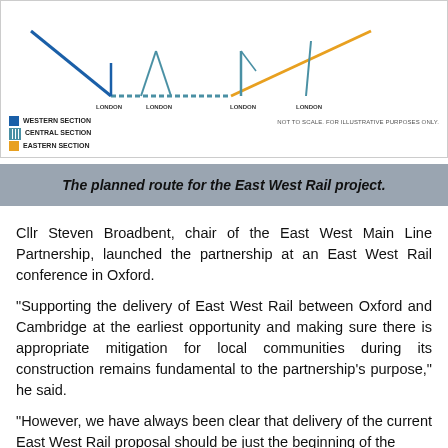[Figure (map): Schematic map showing the planned route for the East West Rail project with lines converging on London stations: London Paddington, London Marylebone, London Euston, London St Pancras. Legend shows Western Section (blue), Central Section (hatched blue), Eastern Section (orange). Note: NOT TO SCALE. FOR ILLUSTRATIVE PURPOSES ONLY.]
The planned route for the East West Rail project.
Cllr Steven Broadbent, chair of the East West Main Line Partnership, launched the partnership at an East West Rail conference in Oxford.
"Supporting the delivery of East West Rail between Oxford and Cambridge at the earliest opportunity and making sure there is appropriate mitigation for local communities during its construction remains fundamental to the partnership's purpose," he said.
"However, we have always been clear that delivery of the current East West Rail proposal should be just the beginning of the